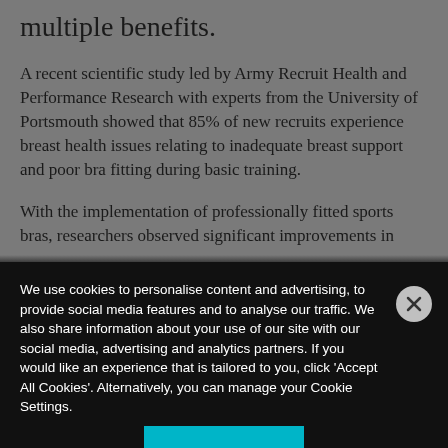multiple benefits.
A recent scientific study led by Army Recruit Health and Performance Research with experts from the University of Portsmouth showed that 85% of new recruits experience breast health issues relating to inadequate breast support and poor bra fitting during basic training.
With the implementation of professionally fitted sports bras, researchers observed significant improvements in
We use cookies to personalise content and advertising, to provide social media features and to analyse our traffic. We also share information about your use of our site with our social media, advertising and analytics partners. If you would like an experience that is tailored to you, click 'Accept All Cookies'. Alternatively, you can manage your Cookie Settings.